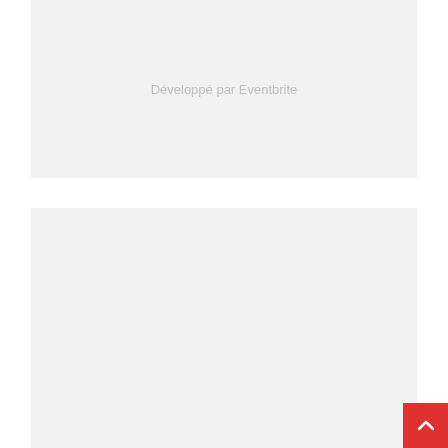[Figure (other): Embedded Eventbrite widget placeholder box with light gray background and centered text 'Développé par Eventbrite']
RECENT POSTS
How to (correctly) implement SSO for Citrix Director?
25 October 2021
Native OTP issues on Citrix ADC 13
31 January 2021